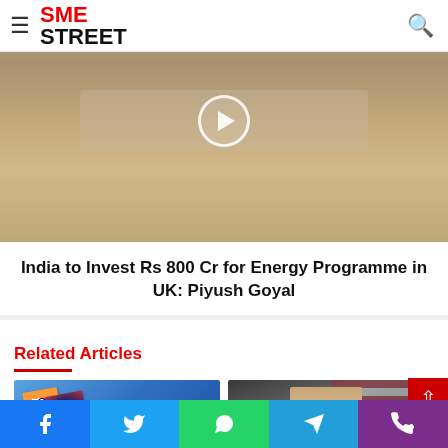SME STREET
[Figure (photo): Close-up photo of an older Indian man with glasses, appears to be Piyush Goyal, with a play button circle overlay in the center]
India to Invest Rs 800 Cr for Energy Programme in UK: Piyush Goyal
Related Articles
[Figure (photo): Image showing Indian and Australian flags waving together against a blue sky background]
[Figure (photo): Photo of Joe Biden smiling in front of an American flag]